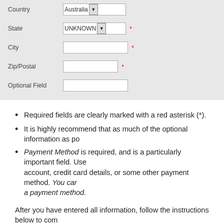[Figure (screenshot): A form section with fields for Country (Australia, dropdown), State (UNKNOWN, dropdown, required), City (empty text input, required), Zip/Postal (empty text input, required), and Optional Field (empty text input).]
Required fields are clearly marked with a red asterisk (*).
It is highly recommend that as much of the optional information as po...
Payment Method is required, and is a particularly important field. Use... account, credit card details, or some other payment method. You car... a payment method.
After you have entered all information, follow the instructions below to com...
5. Save and Check Out